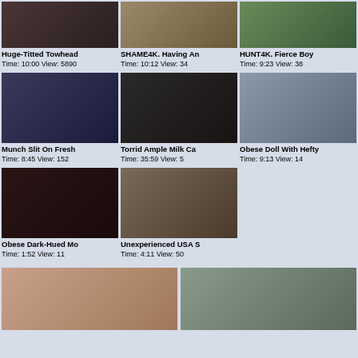[Figure (photo): Thumbnail image row 1, item 1]
Huge-Titted Towhead
Time: 10:00 View: 5890
[Figure (photo): Thumbnail image row 1, item 2]
SHAME4K. Having An
Time: 10:12 View: 34
[Figure (photo): Thumbnail image row 1, item 3]
HUNT4K. Fierce Boy
Time: 9:23 View: 38
[Figure (photo): Thumbnail image row 2, item 1]
Munch Slit On Fresh 
Time: 8:45 View: 152
[Figure (photo): Thumbnail image row 2, item 2]
Torrid Ample Milk Ca
Time: 35:59 View: 5
[Figure (photo): Thumbnail image row 2, item 3]
Obese Doll With Hefty
Time: 9:13 View: 14
[Figure (photo): Thumbnail image row 3, item 1]
Obese Dark-Hued Mo
Time: 1:52 View: 11
[Figure (photo): Thumbnail image row 3, item 2]
Unexperienced USA S
Time: 4:11 View: 50
[Figure (photo): Bottom large thumbnail 1]
[Figure (photo): Bottom large thumbnail 2]